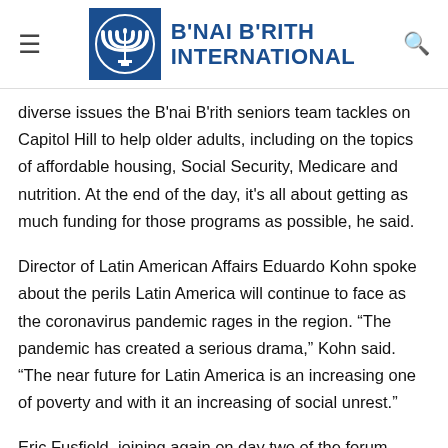B'NAI B'RITH INTERNATIONAL
diverse issues the B'nai B'rith seniors team tackles on Capitol Hill to help older adults, including on the topics of affordable housing, Social Security, Medicare and nutrition. At the end of the day, it's all about getting as much funding for those programs as possible, he said.
Director of Latin American Affairs Eduardo Kohn spoke about the perils Latin America will continue to face as the coronavirus pandemic rages in the region. “The pandemic has created a serious drama,” Kohn said. “The near future for Latin America is an increasing one of poverty and with it an increasing of social unrest.”
Eric Fusfield, joining again on day two of the forum, stressed